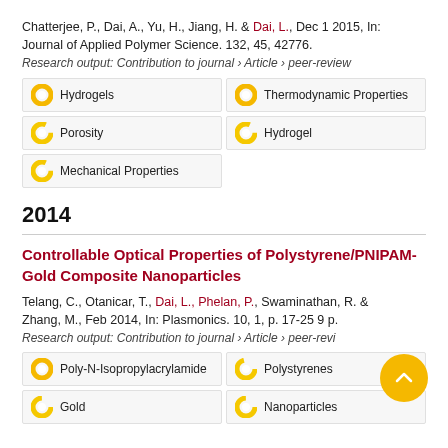Chatterjee, P., Dai, A., Yu, H., Jiang, H. & Dai, L., Dec 1 2015, In: Journal of Applied Polymer Science. 132, 45, 42776.
Research output: Contribution to journal › Article › peer-review
Hydrogels
Thermodynamic Properties
Porosity
Hydrogel
Mechanical Properties
2014
Controllable Optical Properties of Polystyrene/PNIPAM-Gold Composite Nanoparticles
Telang, C., Otanicar, T., Dai, L., Phelan, P., Swaminathan, R. & Zhang, M., Feb 2014, In: Plasmonics. 10, 1, p. 17-25 9 p.
Research output: Contribution to journal › Article › peer-review
Poly-N-Isopropylacrylamide
Polystyrenes
Gold
Nanoparticles